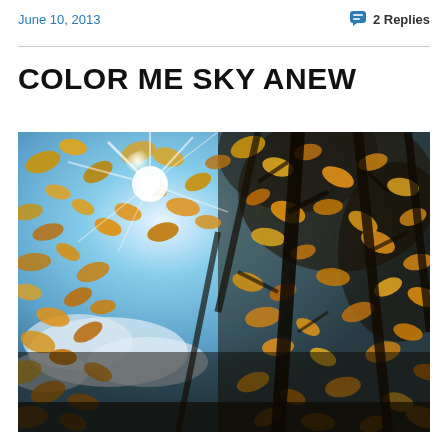June 10, 2013
2 Replies
COLOR ME SKY ANEW
[Figure (photo): Upward-looking photo through autumn trees with golden yellow leaves against a blue sky with clouds and sun flare, dark tree trunks visible]